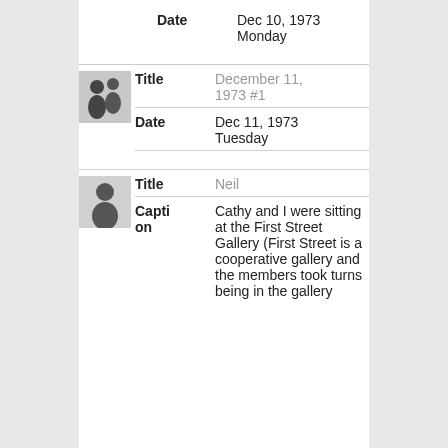Date: Dec 10, 1973 Monday
[Figure (photo): Small thumbnail black and white photo of two silhouetted figures]
Title: December 11, 1973 #1
Date: Dec 11, 1973 Tuesday
[Figure (photo): Small thumbnail black and white photo of a person]
Title: Neil
Caption: Cathy and I were sitting at the First Street Gallery (First Street is a cooperative gallery and the members took turns being in the gallery